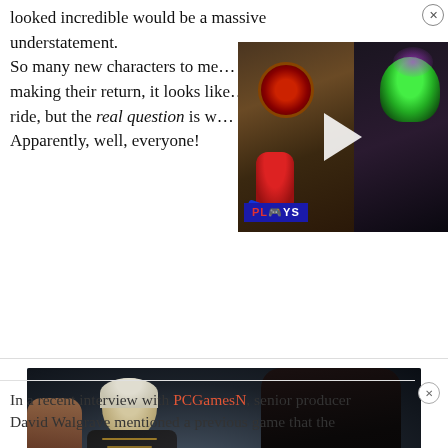looked incredible would be a massive understatement. So many new characters to me... making their return, it looks like a wild ride, but the real question is w... Apparently, well, everyone!
[Figure (screenshot): Video thumbnail showing Spider-Man and a green mask/villain with a PLAYS badge and play button arrow overlay]
[Figure (screenshot): Game screenshot showing two characters in a dialogue scene from what appears to be Baldur's Gate 3, with dialogue options visible at the bottom]
In a recent interview with PCGamesN, senior producer David Walgrave mentioned a previous game that the